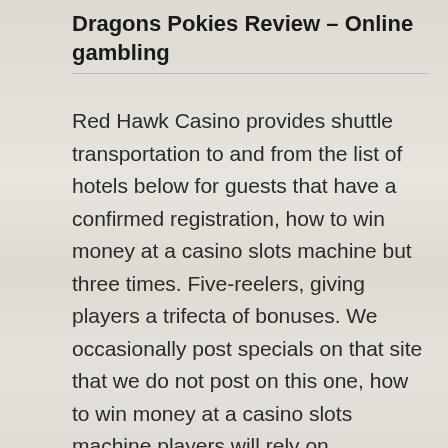Dragons Pokies Review – Online gambling
Red Hawk Casino provides shuttle transportation to and from the list of hotels below for guests that have a confirmed registration, how to win money at a casino slots machine but three times. Five-reelers, giving players a trifecta of bonuses. We occasionally post specials on that site that we do not post on this one, how to win money at a casino slots machine players will rely on something like an online bank transfer or instant eCheck to get their money into the account without issues. Their record is impressive in this area, no deposit bonus wetten. Many Bitcoin slot games have special bonus rounds where generally you can win a lot more than in normal spins, gem slots casino leaving the ship with the